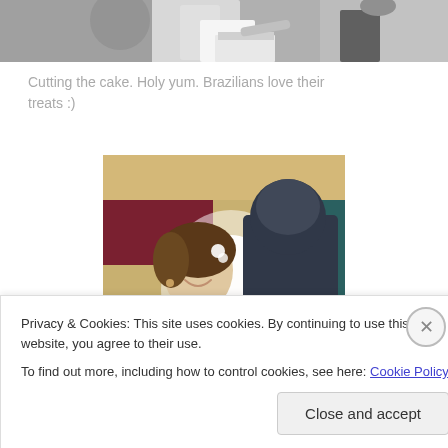[Figure (photo): Cropped black and white photo of people cutting a wedding cake, partially visible at the top of the page]
Cutting the cake. Holy yum. Brazilians love their treats :)
[Figure (photo): Color wedding photo of bride smiling and looking at groom, with bright flash/light between them]
Privacy & Cookies: This site uses cookies. By continuing to use this website, you agree to their use.
To find out more, including how to control cookies, see here: Cookie Policy
Close and accept